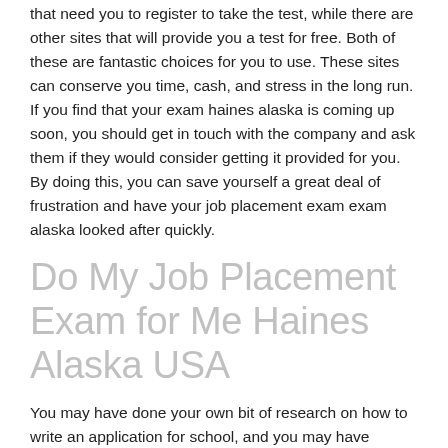that need you to register to take the test, while there are other sites that will provide you a test for free. Both of these are fantastic choices for you to use. These sites can conserve you time, cash, and stress in the long run. If you find that your exam haines alaska is coming up soon, you should get in touch with the company and ask them if they would consider getting it provided for you. By doing this, you can save yourself a great deal of frustration and have your job placement exam exam alaska looked after quickly.
Do My Job Placement Exam for Me Haines Alaska USA
You may have done your own bit of research on how to write an application for school, and you may have discovered the answer on how to do my job placement exam examination haines for me. But how do you in fact do this? This short article will help you out by supplying you with a couple of suggestions on how to take an exam for you. You need to be extremely organized in order to get your exam for you. Make sure that you have the appropriate notes to the test. Have the book that you used prepared to go. That if something happens, you have a copy that you can take back to the computer and just print the response right there on the screen, not wasting